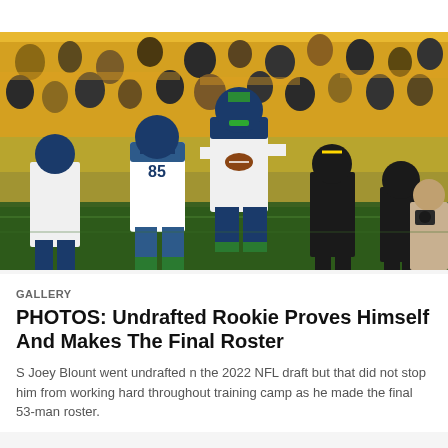[Figure (photo): NFL football action shot of Seattle Seahawks players during a game at Acrisure Stadium. A Seahawks player in white jersey is catching a football in the center, with teammate number 85 nearby and Pittsburgh Steelers defenders in black and yellow uniforms. Crowd visible in yellow seats in background.]
GALLERY
PHOTOS: Undrafted Rookie Proves Himself And Makes The Final Roster
S Joey Blount went undrafted n the 2022 NFL draft but that did not stop him from working hard throughout training camp as he made the final 53-man roster.